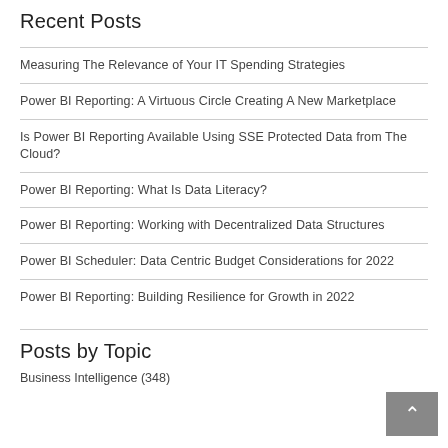Recent Posts
Measuring The Relevance of Your IT Spending Strategies
Power BI Reporting: A Virtuous Circle Creating A New Marketplace
Is Power BI Reporting Available Using SSE Protected Data from The Cloud?
Power BI Reporting: What Is Data Literacy?
Power BI Reporting: Working with Decentralized Data Structures
Power BI Scheduler: Data Centric Budget Considerations for 2022
Power BI Reporting: Building Resilience for Growth in 2022
Posts by Topic
Business Intelligence (348)